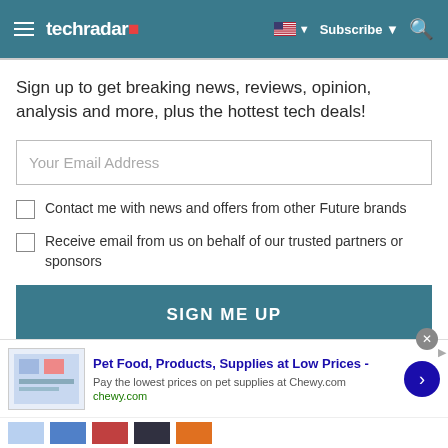techradar
Sign up to get breaking news, reviews, opinion, analysis and more, plus the hottest tech deals!
Your Email Address
Contact me with news and offers from other Future brands
Receive email from us on behalf of our trusted partners or sponsors
SIGN ME UP
By submitting your information you agree to the Terms &
Pet Food, Products, Supplies at Low Prices -
Pay the lowest prices on pet supplies at Chewy.com
chewy.com